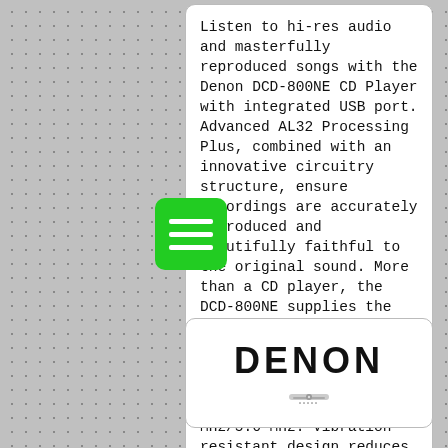Listen to hi-res audio and masterfully reproduced songs with the Denon DCD-800NE CD Player with integrated USB port. Advanced AL32 Processing Plus, combined with an innovative circuitry structure, ensure recordings are accurately reproduced and beautifully faithful to the original sound. More than a CD player, the DCD-800NE supplies the highest quality audio signals to the amp, and the USB port supports hi-res playback up to PCM192/24 and DSD 2.8 MHz/5.6 MHz. Vibration-resistant design reduces adverse audio effects of heavy components within amplifiers, so sound quality meets Denon standards.
[Figure (logo): Denon logo in bold black text on white background with CD player graphic]
[Figure (illustration): Green hamburger menu icon button]